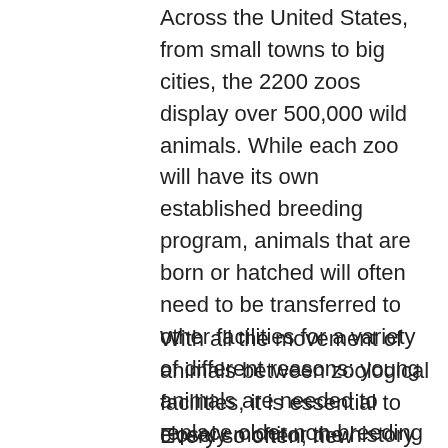Across the United States, from small towns to big cities, the 2200 zoos display over 500,000 wild animals. While each zoo will have its own established breeding program, animals that are born or hatched will often need to be transferred to other facilities for a variety of different reasons: young animals are needed to replace older non-breeding animals, new exhibits are built, social structures need additional members or changes made.
With all the movement of animals between zoological facilities, it is essential to closely monitor the history of each specimen, to avoid inbreeding and to maximize the gene pool.
Every so often, new specimen will be